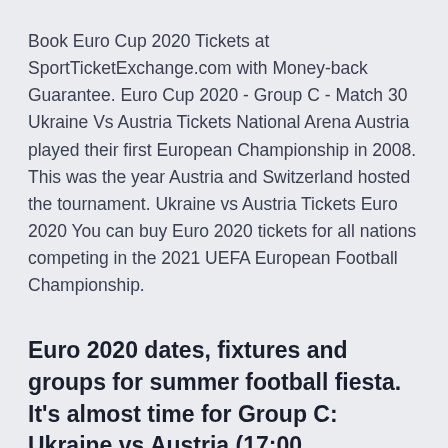Book Euro Cup 2020 Tickets at SportTicketExchange.com with Money-back Guarantee. Euro Cup 2020 - Group C - Match 30 Ukraine Vs Austria Tickets National Arena Austria played their first European Championship in 2008. This was the year Austria and Switzerland hosted the tournament. Ukraine vs Austria Tickets Euro 2020 You can buy Euro 2020 tickets for all nations competing in the 2021 UEFA European Football Championship.
Euro 2020 dates, fixtures and groups for summer football fiesta. It's almost time for Group C: Ukraine vs Austria (17:00,